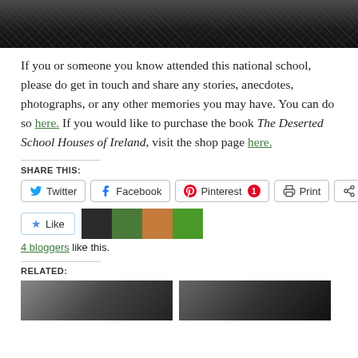[Figure (photo): Top portion of a dark photo showing gravel/rubble ground with dark objects, partial view of what appears to be a schoolhouse scene]
If you or someone you know attended this national school, please do get in touch and share any stories, anecdotes, photographs, or any other memories you may have. You can do so here. If you would like to purchase the book The Deserted School Houses of Ireland, visit the shop page here.
SHARE THIS:
Twitter | Facebook | Pinterest 1 | Print | More
Like | [4 blogger avatars]
4 bloggers like this.
RELATED:
[Figure (photo): Two related article thumbnail images at the bottom of the page]